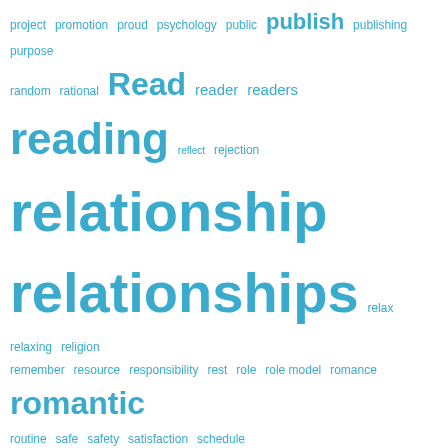[Figure (infographic): Word cloud in teal/blue color showing various words related to self-improvement, education, and personal development. Words are sized by frequency/importance. Includes words like: project, promotion, proud, psychology, public, publish, publishing, purpose, random, rational, Read, reader, readers, reading, reflect, rejection, relationship, relationships, relax, relaxing, religion, remember, resource, responsibility, rest, role, role model, romance, romantic, routine, safe, safety, satisfaction, schedule, school, secure, security, self, self-improvement, self aware, self awareness, self care, self compassion, self confidence, self determination, self discovery, self doubt, self employed, self esteem, self expression, self image, self improvement, self love, self motivation, self reliance, self talk, self worth, service, share, shared, sharing, significance, significant, simple, skill, skills, smile, society, solution, solutions, speaking, stage, start, starting, stories, story, storytelling, stranger, strength, stress, strong, struggle, struggling, student, students, study, succeed, success, support]